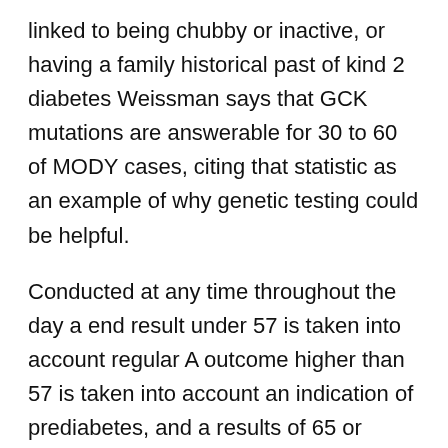linked to being chubby or inactive, or having a family historical past of kind 2 diabetes Weissman says that GCK mutations are answerable for 30 to 60 of MODY cases, citing that statistic as an example of why genetic testing could be helpful.
Conducted at any time throughout the day a end result under 57 is taken into account regular A outcome higher than 57 is taken into account an indication of prediabetes, and a results of 65 or higher indicates type 2 diabetes Conducted after fasting for eight hours a reading of one hundred mg dL or more is taken into account What Causes Your Fasting Blood Sugar To Be High excessive or a sign of prediabetes, while a studying of no much less